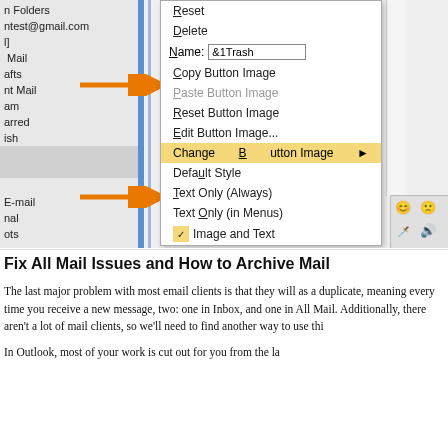[Figure (screenshot): Screenshot of a Windows context menu showing toolbar customization options including Reset, Delete, Name (with &1Trash filled in), Copy Button Image, Paste Button Image (greyed), Reset Button Image, Edit Button Image, Change Button Image (highlighted, with submenu arrow), Default Style, Text Only (Always), Text Only (in Menus), Image and Text. Two orange arrows point to the Name field and Default Style item. An emoji/icon panel is visible at the right edge with various icons, the last one (trash can) highlighted with an orange circle.]
Fix All Mail Issues and How to Archive Mail
The last major problem with most email clients is that they will as a duplicate, meaning every time you receive a new message, two: one in Inbox, and one in All Mail. Additionally, there aren' a lot of mail clients, so we'll need to find another way to use thi
In Outlook, most of your work is cut out for you from the la